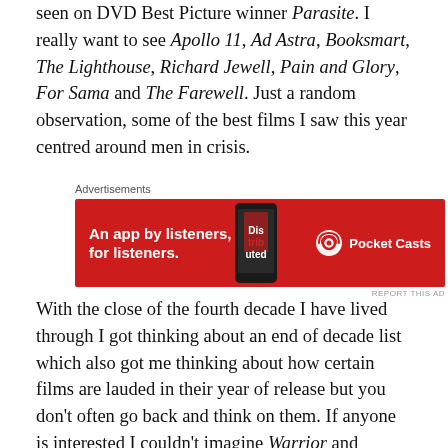seen on DVD Best Picture winner Parasite. I really want to see Apollo 11, Ad Astra, Booksmart, The Lighthouse, Richard Jewell, Pain and Glory, For Sama and The Farewell. Just a random observation, some of the best films I saw this year centred around men in crisis.
[Figure (other): Pocket Casts advertisement banner with red background showing 'An app by listeners, for listeners.' text and Pocket Casts logo on the right, with a phone image in the center.]
With the close of the fourth decade I have lived through I got thinking about an end of decade list which also got me thinking about how certain films are lauded in their year of release but you don't often go back and think on them. If anyone is interested I couldn't imagine Warrior and Tinker, Tailor, Soldier, Spy not featuring on that decade list. I think Black Swan, The Tree of Life, Mad Max: Fury